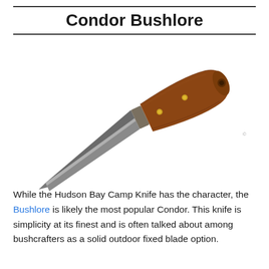Condor Bushlore
[Figure (photo): A Condor Bushlore fixed blade knife with a gray steel blade and brown wooden handle with two brass rivets and a hole at the butt end, photographed diagonally on a white background.]
While the Hudson Bay Camp Knife has the character, the Bushlore is likely the most popular Condor. This knife is simplicity at its finest and is often talked about among bushcrafters as a solid outdoor fixed blade option.